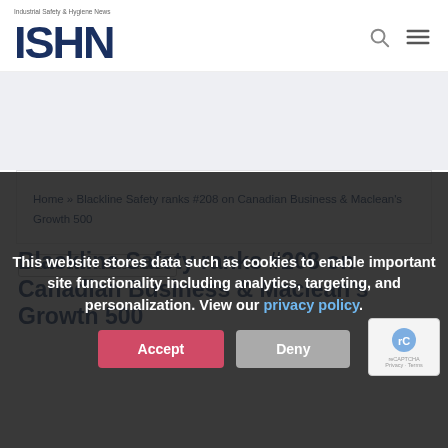[Figure (logo): ISHN Industrial Safety & Hygiene News logo in dark blue bold letters]
Home » Blackline Safety ranks #208 on Canadian Business & Maclean's Growth 500
Vendor News & Case Studies
This website stores data such as cookies to enable important site functionality including analytics, targeting, and personalization. View our privacy policy.
Accept   Deny
Blackline Safety ranks #208 on Canadian Business & Maclean's Growth 500